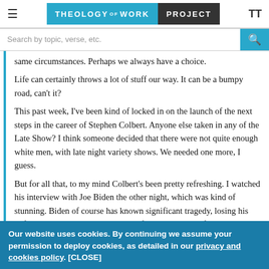≡  THEOLOGY OF WORK PROJECT  TT
Search by topic, verse, etc.
same circumstances. Perhaps we always have a choice.
Life can certainly throws a lot of stuff our way. It can be a bumpy road, can't it?
This past week, I've been kind of locked in on the launch of the next steps in the career of Stephen Colbert. Anyone else taken in any of the Late Show? I think someone decided that there were not quite enough white men, with late night variety shows. We needed one more, I guess.
But for all that, to my mind Colbert's been pretty refreshing. I watched his interview with Joe Biden the other night, which was kind of stunning. Biden of course has known significant tragedy, losing his wife and daughter decades ago, and facing the death of another child, his son Beau, this past year. And politics aside, Joe
Our website uses cookies. By continuing we assume your permission to deploy cookies, as detailed in our privacy and cookies policy. [CLOSE]